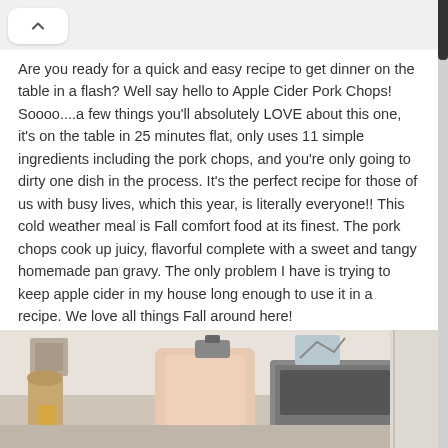Are you ready for a quick and easy recipe to get dinner on the table in a flash? Well say hello to Apple Cider Pork Chops! Soooo....a few things you'll absolutely LOVE about this one, it's on the table in 25 minutes flat, only uses 11 simple ingredients including the pork chops, and you're only going to dirty one dish in the process. It's the perfect recipe for those of us with busy lives, which this year, is literally everyone!! This cold weather meal is Fall comfort food at its finest. The pork chops cook up juicy, flavorful complete with a sweet and tangy homemade pan gravy. The only problem I have is trying to keep apple cider in my house long enough to use it in a recipe. We love all things Fall around here!
Here's all you'll need: olive oil, boneless pork chops, garlic, Dijon mustard, honey, apple pie spice, pepper, thyme, salt, apple cider, cornstarch, water, and fresh parsley to garnish.
[Figure (photo): Kitchen scene showing a large jug/container of apple cider on a counter with kitchen appliances and decor items in the background including a toaster oven and wall decorations.]